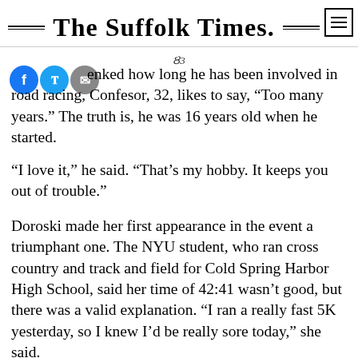The Suffolk Times.
When asked how long he has been involved in road racing, Confesor, 32, likes to say, "Too many years." The truth is, he was 16 years old when he started.
“I love it,” he said. “That’s my hobby. It keeps you out of trouble.”
Doroski made her first appearance in the event a triumphant one. The NYU student, who ran cross country and track and field for Cold Spring Harbor High School, said her time of 42:41 wasn’t good, but there was a valid explanation. “I ran a really fast 5K yesterday, so I knew I’d be really sore today,” she said.